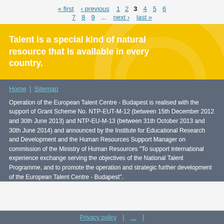« first  ‹ previous  1  2  3  4  5  6  7  8  9  ...  next ›  last »
[Figure (illustration): Yellow banner with circular decorative elements and bold white text: Talent is a special kind of natural resource that is available in every country.]
Home | Sitemap
Operation of the European Talent Centre - Budapest is realised with the support of Grant Scheme No. NTP-EUT-M-12 (between 15th December 2012 and 30th June 2013) and NTP-EU-M-13 (between 31th October 2013 and 30th June 2014) and announced by the Institute for Educational Research and Development and the Human Resources Support Manager on commission of the Ministry of Human Resources "To support international experience exchange serving the objectives of the National Talent Programme, and to promote the operation and strategic further development of the European Talent Centre - Budapest".
Privacy policy | ...